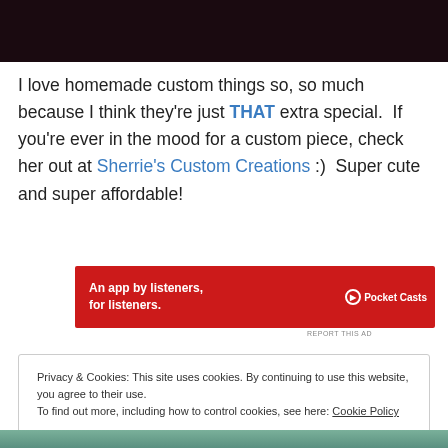[Figure (photo): Dark background image, partial view at top of page]
I love homemade custom things so, so much because I think they're just THAT extra special. If you're ever in the mood for a custom piece, check her out at Sherrie's Custom Creations :) Super cute and super affordable!
[Figure (screenshot): Pocket Casts advertisement banner - red background with text 'An app by listeners, for listeners.' and Pocket Casts logo]
REPORT THIS AD
Privacy & Cookies: This site uses cookies. By continuing to use this website, you agree to their use.
To find out more, including how to control cookies, see here: Cookie Policy
Close and accept
[Figure (photo): Partial photo at bottom of page, greenish/natural tones]